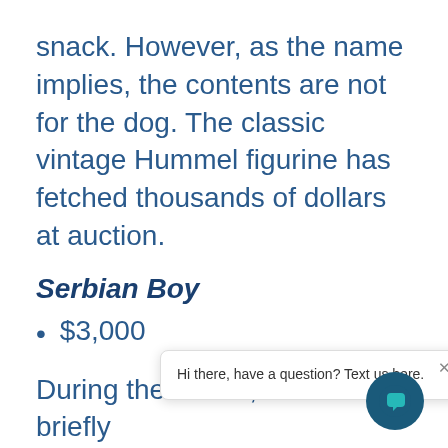snack. However, as the name implies, the contents are not for the dog. The classic vintage Hummel figurine has fetched thousands of dollars at auction.
Serbian Boy
$3,000
During the 1940s, Hummel briefly crafted a line of figurines that sho... coun... each character appeared in